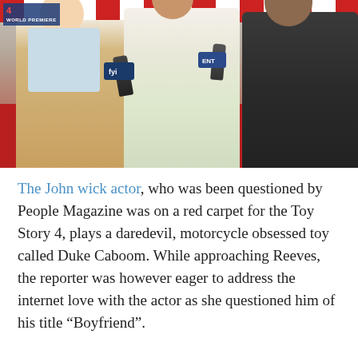[Figure (photo): Red carpet interview scene showing three people: a man in a tan/beige blazer on the left, a woman in a floral dress in the center holding a microphone interviewing, and a man in a dark suit on the right (Keanu Reeves). A TV channel logo reading '4 WORLD PREMIERE' is visible in the upper left corner.]
The John wick actor, who was been questioned by People Magazine was on a red carpet for the Toy Story 4, plays a daredevil, motorcycle obsessed toy called Duke Caboom. While approaching Reeves, the reporter was however eager to address the internet love with the actor as she questioned him of his title "Boyfriend".